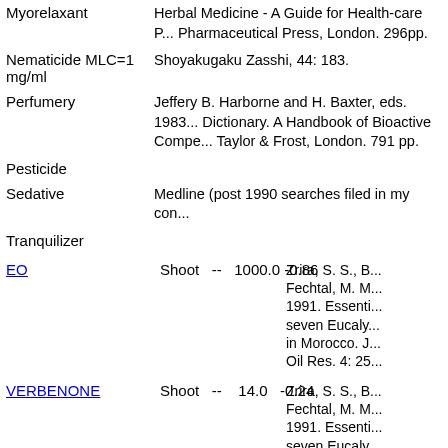| Activity | Reference/Data |
| --- | --- |
| Myorelaxant | Herbal Medicine - A Guide for Health-care ... Pharmaceutical Press, London. 296pp. |
| Nematicide MLC=1 mg/ml | Shoyakugaku Zasshi, 44: 183. |
| Perfumery | Jeffery B. Harborne and H. Baxter, eds. 1983... Dictionary. A Handbook of Bioactive Compe... Taylor & Frost, London. 791 pp. |
| Pesticide |  |
| Sedative | Medline (post 1990 searches filed in my con... |
| Tranquilizer |  |
| EO | Shoot  --  1000.0 -0.86  Zrira, S. S., B... Fechtal, M. M... 1991. Essenti... seven Eucaly... in Morocco. J... Oil Res. 4: 25... |
| VERBENONE | Shoot  --  14.0  -0.24  Zrira, S. S., B... Fechtal, M. M... 1991. Essenti... seven Eucaly... in Morocco. J... Oil Res. 4: 25... |
Activities (5)